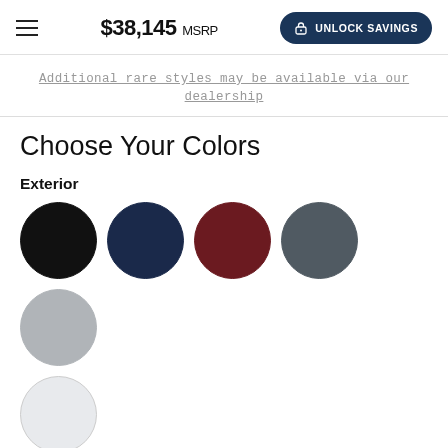$38,145 MSRP — UNLOCK SAVINGS
Additional rare styles may be available via our dealership
Choose Your Colors
Exterior
[Figure (illustration): Six exterior color circles: black, navy, maroon, dark gray, silver, white/light gray]
None selected
Interior
[Figure (illustration): Two interior color circles (partial, bottom-cropped): black and gray]